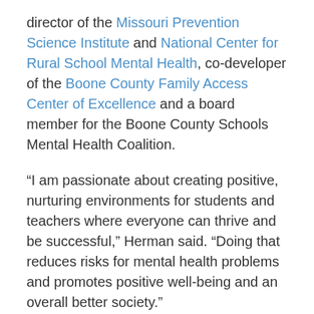director of the Missouri Prevention Science Institute and National Center for Rural School Mental Health, co-developer of the Boone County Family Access Center of Excellence and a board member for the Boone County Schools Mental Health Coalition.
“I am passionate about creating positive, nurturing environments for students and teachers where everyone can thrive and be successful,” Herman said. “Doing that reduces risks for mental health problems and promotes positive well-being and an overall better society.”
“Accounting for traumatic historical events in educational randomized controlled trials” was recently published in School Psychology Review.